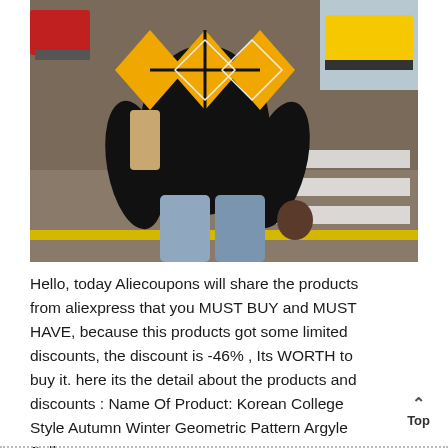[Figure (photo): Person wearing a black argyle sweater with yellow and white diamond pattern, paired with light blue jeans, walking across a zebra crossing on a street.]
Hello, today Aliecoupons will share the products from aliexpress that you MUST BUY and MUST HAVE, because this products got some limited discounts, the discount is -46% , Its WORTH to buy it. here its the detail about the products and discounts : Name Of Product: Korean College Style Autumn Winter Geometric Pattern Argyle Pullovers